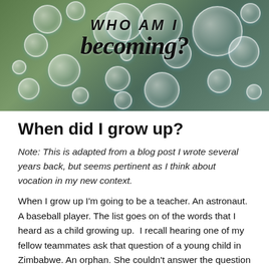[Figure (photo): Header image with bubbles floating over an outdoor green background, with decorative script text reading 'who am I becoming?']
When did I grow up?
Note: This is adapted from a blog post I wrote several years back, but seems pertinent as I think about vocation in my new context.
When I grow up I'm going to be a teacher. An astronaut. A baseball player. The list goes on of the words that I heard as a child growing up.  I recall hearing one of my fellow teammates ask that question of a young child in Zimbabwe. An orphan. She couldn't answer the question